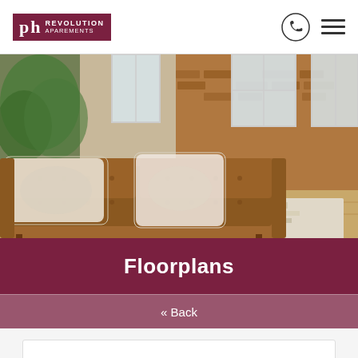Revolution Aparements
[Figure (photo): Interior photo of a living room with a brown tufted leather sofa with decorative pillows, exposed brick wall, hardwood floors, and large windows with natural light.]
Floorplans
« Back
Townhome A
3 Bed | 2.5 Bath | 2491 sq. ft.
$3,900